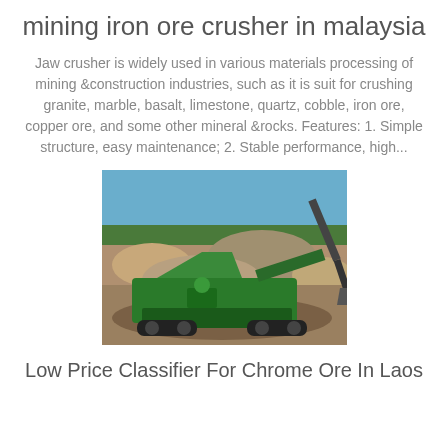mining iron ore crusher in malaysia
Jaw crusher is widely used in various materials processing of mining &construction industries, such as it is suit for crushing granite, marble, basalt, limestone, quartz, cobble, iron ore, copper ore, and some other mineral &rocks. Features: 1. Simple structure, easy maintenance; 2. Stable performance, high...
[Figure (photo): A green mobile jaw crusher machine at a mining/quarry site with rocky terrain and blue sky in the background, with an excavator arm visible on the right.]
Low Price Classifier For Chrome Ore In Laos